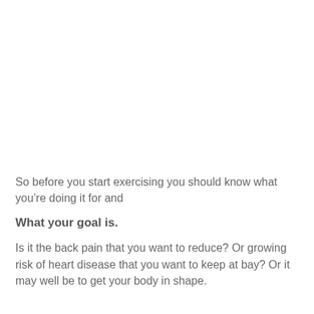So before you start exercising you should know what you’re doing it for and
What your goal is.
Is it the back pain that you want to reduce? Or growing risk of heart disease that you want to keep at bay? Or it may well be to get your body in shape.